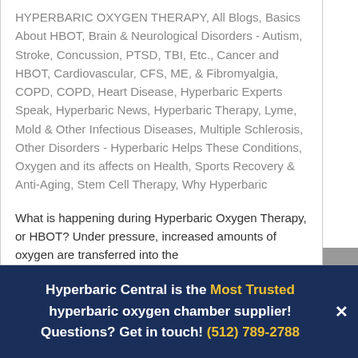HYPERBARIC OXYGEN THERAPY, All Blogs, Basics About HBOT, Brain & Neurological Disorders - Autism, Stroke, Concussion, PTSD, TBI, Etc., Cancer and HBOT, Cardiovascular, CFS, ME, & Fibromyalgia, COPD, COPD, Heart Disease, Hyperbaric Experts Speak, Hyperbaric News, Hyperbaric Therapy, Lyme, Mold & Other Infectious Diseases, Multiple Schlerosis, Other Disorders - Hyperbaric Helps These Conditions, Oxygen and its affects on Health, Sports Recovery & Anti-Aging, Stem Cell Therapy, Why Hyperbaric
What is happening during Hyperbaric Oxygen Therapy, or HBOT? Under pressure, increased amounts of oxygen are transferred into the…
Hyperbaric Central is the Most Trusted hyperbaric oxygen chamber supplier! Questions? Get in touch! (512) 789-2788